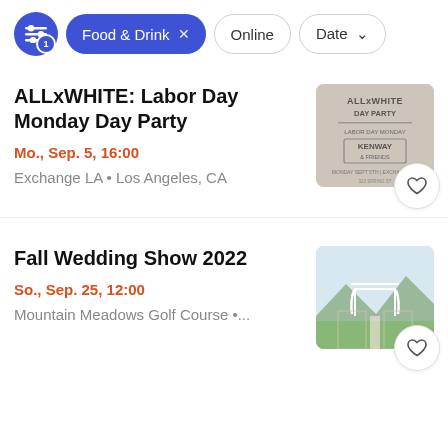Food & Drink × | Online | Date ∨
ALLxWHITE: Labor Day Monday Day Party
Mo., Sep. 5, 16:00
Exchange LA • Los Angeles, CA
[Figure (photo): ALLxWHITE Day Party Labor Day Monday flyer poster]
Fall Wedding Show 2022
So., Sep. 25, 12:00
Mountain Meadows Golf Course •...
[Figure (photo): Outdoor wedding venue with white pergola and mountain backdrop]